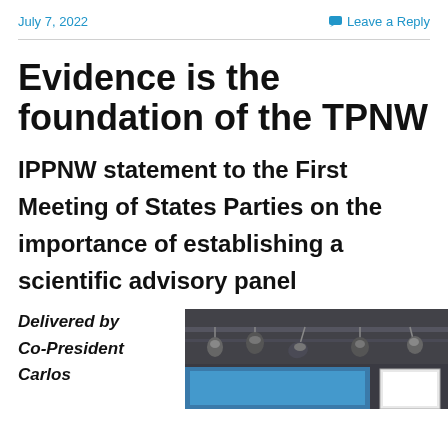July 7, 2022    Leave a Reply
Evidence is the foundation of the TPNW
IPPNW statement to the First Meeting of States Parties on the importance of establishing a scientific advisory panel
Delivered by Co-President Carlos
[Figure (photo): Photo of a conference room ceiling with stage lighting rigs and equipment, and a blue screen visible in the lower portion]